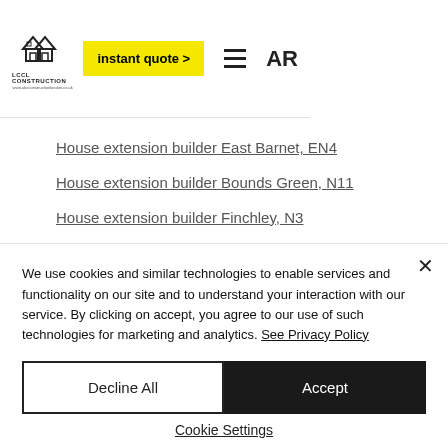[Figure (logo): LCCL Construction logo with house/roof icon and website URL]
House extension builder East Barnet, EN4
House extension builder Bounds Green, N11
House extension builder Finchley, N3
House extension builder Putney, SW15
House extension builder Fulham, SW10
House extension builder High Barnet, EN5
We use cookies and similar technologies to enable services and functionality on our site and to understand your interaction with our service. By clicking on accept, you agree to our use of such technologies for marketing and analytics. See Privacy Policy